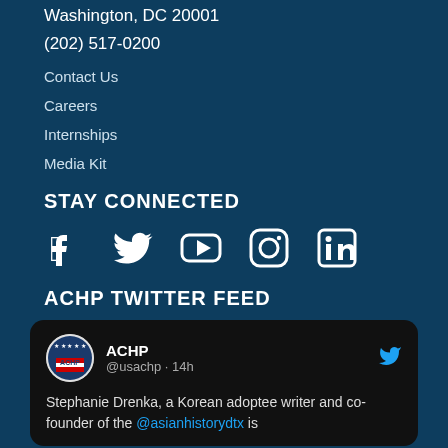Washington, DC 20001
(202) 517-0200
Contact Us
Careers
Internships
Media Kit
STAY CONNECTED
[Figure (infographic): Social media icons: Facebook, Twitter, YouTube, Instagram, LinkedIn]
ACHP TWITTER FEED
[Figure (screenshot): Tweet from ACHP @usachp 14h ago: 'Stephanie Drenka, a Korean adoptee writer and co-founder of the @asianhistorydtx is']